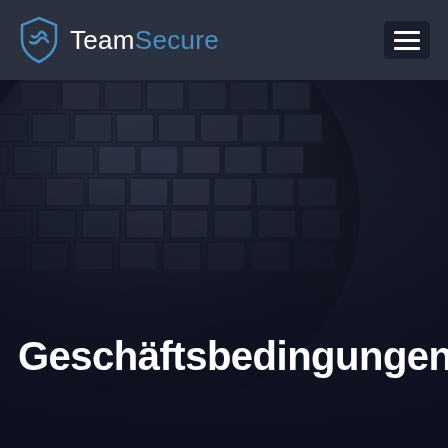[Figure (logo): TeamSecure logo with shield icon and navigation bar with hamburger menu]
[Figure (illustration): Dark background hero section with 3D globe/sphere made of dark geometric tiles, partially visible in upper-left area]
Geschäftsbedingungen